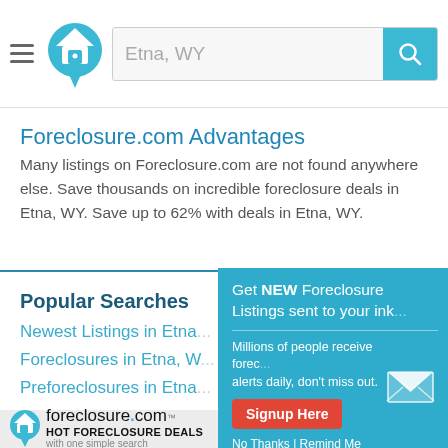[Figure (screenshot): Website header with hamburger menu, house logo icon, search bar with 'Etna, WY' placeholder text, and teal search button with magnifying glass icon]
Foreclosure.com Advantages
Many listings on Foreclosure.com are not found anywhere else. Save thousands on incredible foreclosure deals in Etna, WY. Save up to 62% with deals in Etna, WY.
Popular Searches
Newest Listings in Etna...
Foreclosures in Etna, W...
Preforeclosures in Etna...
[Figure (screenshot): Teal popup modal: 'Get NEW Foreclosure Listings sent to your inbox' with email icon, Signup Here button in red, and 'No Thanks | Remind Me Later' links]
[Figure (logo): foreclosure.com logo with house icon, HOT FORECLOSURE DEALS tagline, 'with one simple search' subtext]